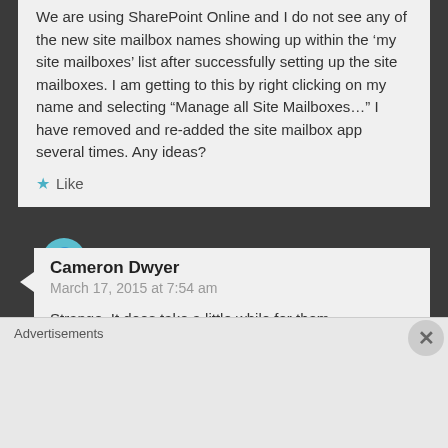We are using SharePoint Online and I do not see any of the new site mailbox names showing up within the ‘my site mailboxes’ list after successfully setting up the site mailboxes. I am getting to this by right clicking on my name and selecting “Manage all Site Mailboxes…” I have removed and re-added the site mailbox app several times. Any ideas?
★ Like
Cameron Dwyer
March 17, 2015 at 7:54 am
Strange. It does take a little while for them
Advertisements